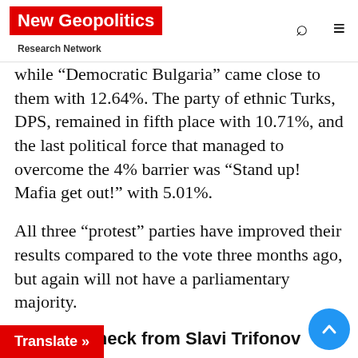New Geopolitics Research Network
while “Democratic Bulgaria” came close to them with 12.64%. The party of ethnic Turks, DPS, remained in fifth place with 10.71%, and the last political force that managed to overcome the 4% barrier was “Stand up! Mafia get out!” with 5.01%.
All three “protest” parties have improved their results compared to the vote three months ago, but again will not have a parliamentary majority.
Political check from Slavi Trifonov
Despite the fact that it is quite insignificant, Slavi Trifonov’s victory is still quite symbolic. He became a leading figure in the political arena and now everyone